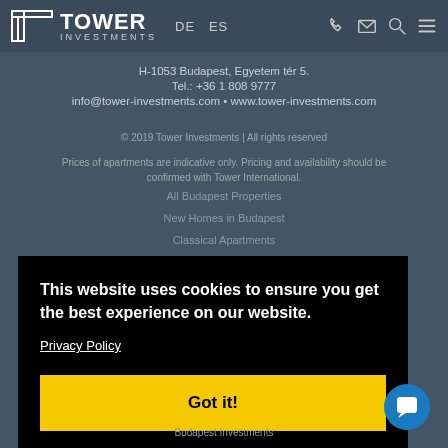Tower Investments — DE ES — navigation icons
H-1053 Budapest, Egyetem tér 5.
Tel.: +36 1 808 9777
info@tower-investments.com • www.tower-investments.com
© 2019 Tower Investments | All rights reserved
Prices of apartments are indicative only. Pricing and availability should be confirmed with Tower International.
All Budapest Properties
New Homes in Budapest
Classical Apartments
Buy-to-let in Budapest
This website uses cookies to ensure you get the best experience on our website.
Privacy Policy
Got it!
Budapest Investments